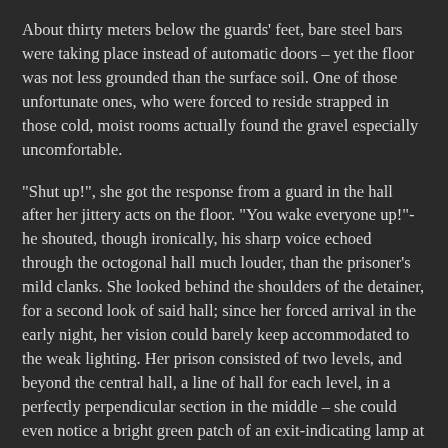About thirty meters below the guards' feet, bare steel bars were taking place instead of automatic doors – yet the floor was not less grounded than the surface soil. One of those unfortunate ones, who were forced to reside strapped in those cold, moist rooms actually found the gravel especially uncomfortable.
"Shut up!", she got the response from a guard in the hall after her jittery acts on the floor. "You wake everyone up!"- he shouted, though ironically, his sharp voice echoed through the octogonal hall much louder, than the prisoner's mild clanks. She looked behind the shoulders of the detainer, for a second look of said hall; since her forced arrival in the early night, her vision could barely keep accommodated to the weak lighting. Her prison consisted of two levels, and beyond the central hall, a line of hall for each level, in a perfectly perpendicular section in the middle – she could even notice a bright green patch of an exit-indicating lamp at the end of the corridor above, in front of her. This small examination was far from enough for this captive to ever start